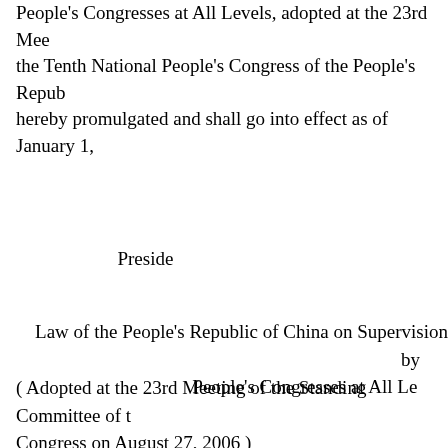People's Congresses at All Levels, adopted at the 23rd Meeting of the Tenth National People's Congress of the People's Republic of China, is hereby promulgated and shall go into effect as of January 1,
Preside
Law of the People's Republic of China on Supervision by People's Congresses at All Le
( Adopted at the 23rd Meeting of the Standing Committee of the Tenth National People's Congress on August 27, 2006 )
Contents
Chapter I General Provisions
Chapter II Hearing of and Deliberation over Special Work Reports of Governments, People's Courts and People's Procuratorates